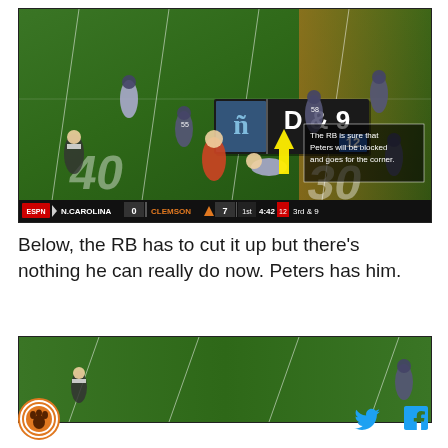[Figure (screenshot): ESPN broadcast screenshot of a college football game between North Carolina and Clemson. The scoreboard shows N.CAROLINA 0, CLEMSON 7, 1st quarter, 4:42 remaining, 3rd & 9. An overlay arrow and text reads 'The RB is sure that Peters will be blocked and goes for the corner.' Field shows players in action with yard markers visible.]
Below, the RB has to cut it up but there's nothing he can really do now. Peters has him.
[Figure (screenshot): Partial ESPN broadcast screenshot of the same football game, cropped view of the field.]
[Figure (logo): Clemson Tigers circular logo with orange border]
[Figure (logo): Twitter bird icon in blue]
[Figure (logo): Facebook 'f' icon in blue]